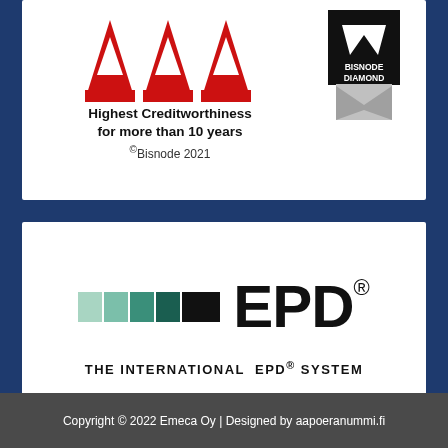[Figure (logo): AAA Highest Creditworthiness for more than 10 years, Bisnode Diamond 2021 certification logo on white card background]
[Figure (logo): The International EPD System logo with colored gradient bars and EPD text on white card background]
Copyright © 2022 Emeca Oy | Designed by aapoeranummi.fi